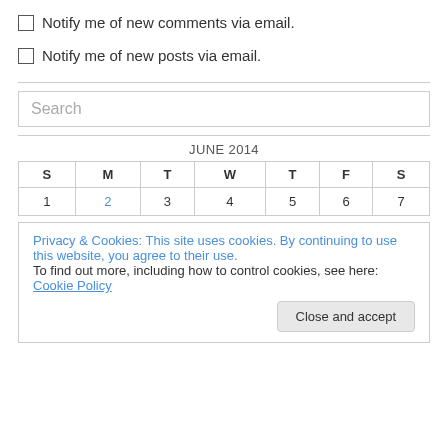Notify me of new comments via email.
Notify me of new posts via email.
Search
| S | M | T | W | T | F | S |
| --- | --- | --- | --- | --- | --- | --- |
| 1 | 2 | 3 | 4 | 5 | 6 | 7 |
Privacy & Cookies: This site uses cookies. By continuing to use this website, you agree to their use.
To find out more, including how to control cookies, see here: Cookie Policy
Close and accept